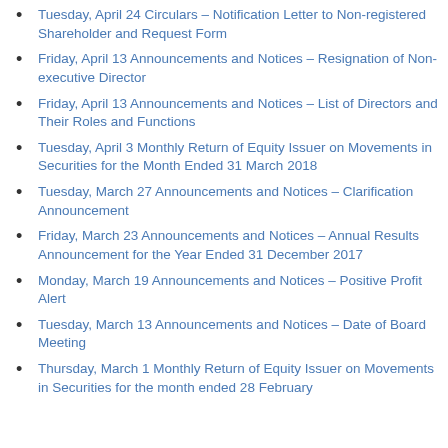Tuesday, April 24 Circulars – Notification Letter to Non-registered Shareholder and Request Form
Friday, April 13 Announcements and Notices – Resignation of Non-executive Director
Friday, April 13 Announcements and Notices – List of Directors and Their Roles and Functions
Tuesday, April 3 Monthly Return of Equity Issuer on Movements in Securities for the Month Ended 31 March 2018
Tuesday, March 27 Announcements and Notices – Clarification Announcement
Friday, March 23 Announcements and Notices – Annual Results Announcement for the Year Ended 31 December 2017
Monday, March 19 Announcements and Notices – Positive Profit Alert
Tuesday, March 13 Announcements and Notices – Date of Board Meeting
Thursday, March 1 Monthly Return of Equity Issuer on Movements in Securities for the month ended 28 February